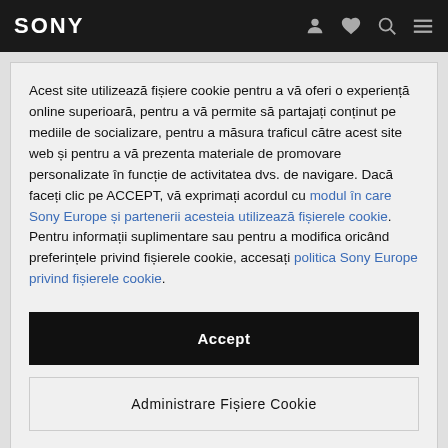SONY
Acest site utilizează fișiere cookie pentru a vă oferi o experiență online superioară, pentru a vă permite să partajați conținut pe mediile de socializare, pentru a măsura traficul către acest site web și pentru a vă prezenta materiale de promovare personalizate în funcție de activitatea dvs. de navigare. Dacă faceți clic pe ACCEPT, vă exprimați acordul cu modul în care Sony Europe și partenerii acesteia utilizează fișierele cookie. Pentru informații suplimentare sau pentru a modifica oricând preferințele privind fișierele cookie, accesați politica Sony Europe privind fișierele cookie.
Accept
Administrare Fișiere Cookie